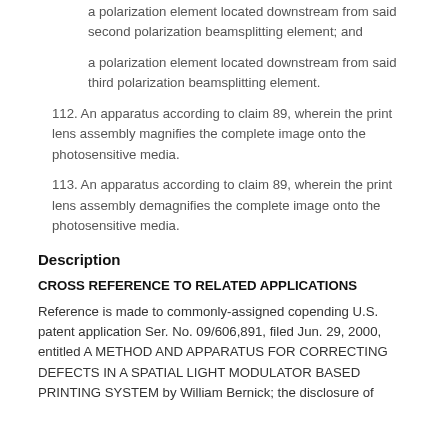a polarization element located downstream from said second polarization beamsplitting element; and
a polarization element located downstream from said third polarization beamsplitting element.
112. An apparatus according to claim 89, wherein the print lens assembly magnifies the complete image onto the photosensitive media.
113. An apparatus according to claim 89, wherein the print lens assembly demagnifies the complete image onto the photosensitive media.
Description
CROSS REFERENCE TO RELATED APPLICATIONS
Reference is made to commonly-assigned copending U.S. patent application Ser. No. 09/606,891, filed Jun. 29, 2000, entitled A METHOD AND APPARATUS FOR CORRECTING DEFECTS IN A SPATIAL LIGHT MODULATOR BASED PRINTING SYSTEM by William Bernick; the disclosure of